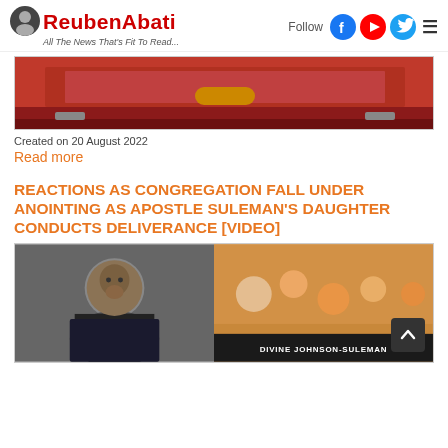ReubenAbati — All The News That's Fit To Read...
[Figure (photo): Red stage/altar area with decorative carpet, partially visible]
Created on 20 August 2022
Read more
REACTIONS AS CONGREGATION FALL UNDER ANOINTING AS APOSTLE SULEMAN'S DAUGHTER CONDUCTS DELIVERANCE [VIDEO]
[Figure (photo): Left: portrait of a man in a suit (Apostle Suleman); Right: crowd scene at a church service with caption 'DIVINE JOHNSON-SULEMAN']